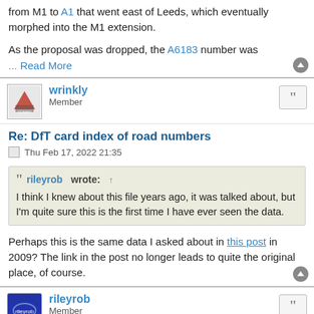from M1 to A1 that went east of Leeds, which eventually morphed into the M1 extension.
As the proposal was dropped, the A6183 number was
... Read More
wrinkly
Member
Re: DfT card index of road numbers
Thu Feb 17, 2022 21:35
rileyrob wrote: ↑
I think I knew about this file years ago, it was talked about, but I'm quite sure this is the first time I have ever seen the data.
Perhaps this is the same data I asked about in this post in 2009? The link in the post no longer leads to quite the original place, of course.
rileyrob
Member